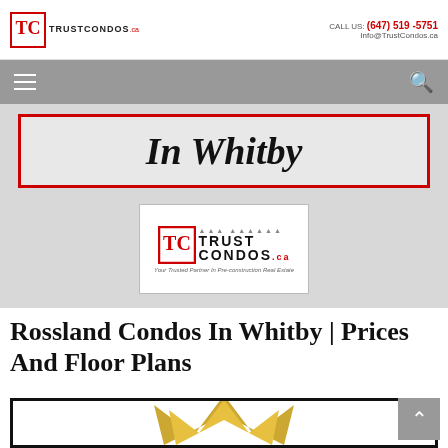TC TRUSTCONDOS.ca | CALL US: (647) 519-5751 | Info@TrustCondos.ca
[Figure (screenshot): Navigation bar with hamburger menu icon on left and search icon on right, grey background]
[Figure (screenshot): Hero banner image showing 'In Whitby' text in italic bold inside a red-bordered box, with TrustCondos.ca logo below on grey background]
Rossland Condos In Whitby | Prices And Floor Plans
[Figure (logo): Bottom image area showing partial gold star/arrow logo on white background with thick black border]